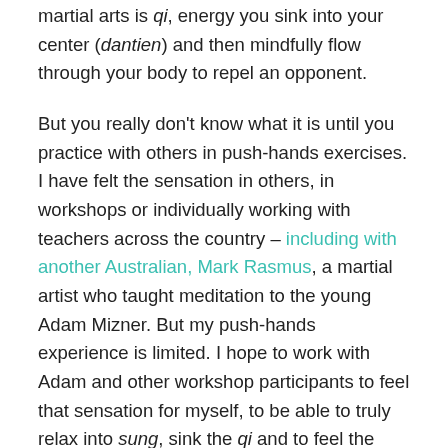martial arts is qi, energy you sink into your center (dantien) and then mindfully flow through your body to repel an opponent.
But you really don't know what it is until you practice with others in push-hands exercises. I have felt the sensation in others, in workshops or individually working with teachers across the country – including with another Australian, Mark Rasmus, a martial artist who taught meditation to the young Adam Mizner. But my push-hands experience is limited. I hope to work with Adam and other workshop participants to feel that sensation for myself, to be able to truly relax into sung, sink the qi and to feel the generation of internal power as a result.
In this, my 29th year of practicing taiji, I have much to